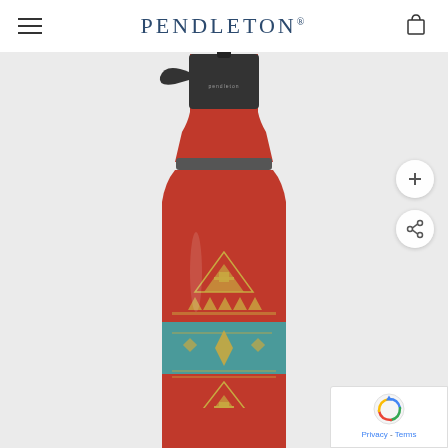PENDLETON®
[Figure (photo): Pendleton branded stainless steel water bottle with a red base color and Southwestern/Native American geometric pattern in gold and teal/turquoise colors. The bottle has a black sport cap lid with a Pendleton-branded flip-top spout.]